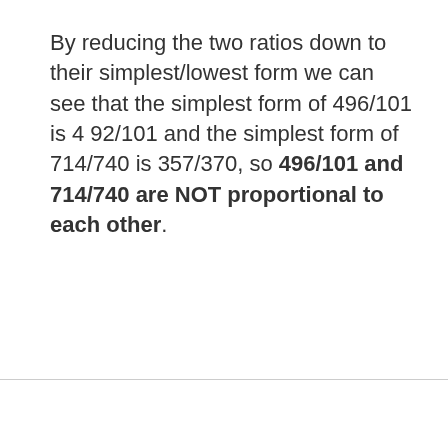By reducing the two ratios down to their simplest/lowest form we can see that the simplest form of 496/101 is 4 92/101 and the simplest form of 714/740 is 357/370, so 496/101 and 714/740 are NOT proportional to each other.